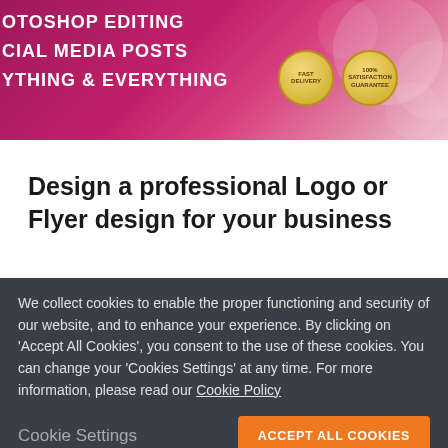[Figure (screenshot): Website header banner with purple/pink gradient background showing menu items: PHOTOSHOP EDITING, SOCIAL MEDIA POSTS, ANYTHING & EVERYTHING, with two gold badge icons on the right]
Design a professional Logo or Flyer design for your business
flyer design ×
graphics design ×
We collect cookies to enable the proper functioning and security of our website, and to enhance your experience. By clicking on 'Accept All Cookies', you consent to the use of these cookies. You can change your 'Cookies Settings' at any time. For more information, please read our Cookie Policy
Cookie Settings
ACCEPT ALL COOKIES